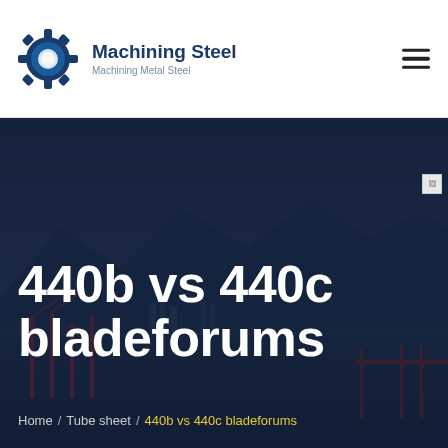Machining Steel — Machining Metal Steel
[Figure (illustration): Hero banner with dark industrial/harbor cityscape background showing mountains, cranes, and a bridge at dusk with dark blue overlay]
440b vs 440c bladeforums
Home / Tube sheet / 440b vs 440c bladeforums